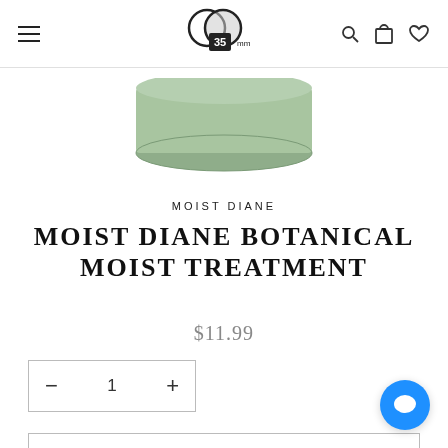35MM store navigation header with hamburger menu, logo, search, cart, and wishlist icons
[Figure (photo): Bottom portion of a sage green/mint colored round product jar (Moist Diane Botanical Moist Treatment) against a white background]
MOIST DIANE
MOIST DIANE BOTANICAL MOIST TREATMENT
$11.99
— 1 +
SOLD OUT